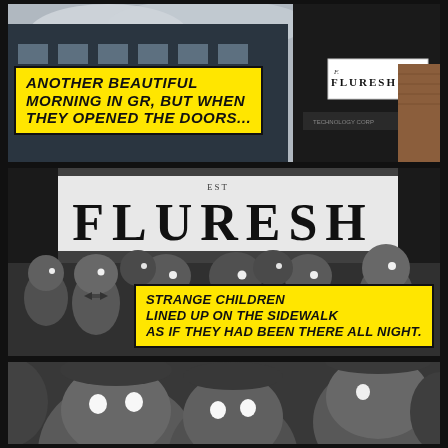[Figure (photo): Color photo of a building exterior with a 'FLURESH' sign in black and white, street-level view, overcast sky. Comic book style panel.]
Another beautiful morning in GR, but when they opened the doors...
[Figure (photo): Black and white photo of multiple creepy children with glowing white eyes standing in front of FLURESH store sign. Comic book style panel.]
Strange children lined up on the sidewalk as if they had been there all night.
[Figure (photo): Black and white close-up of two children with glowing eyes looking at camera. Comic book style panel.]